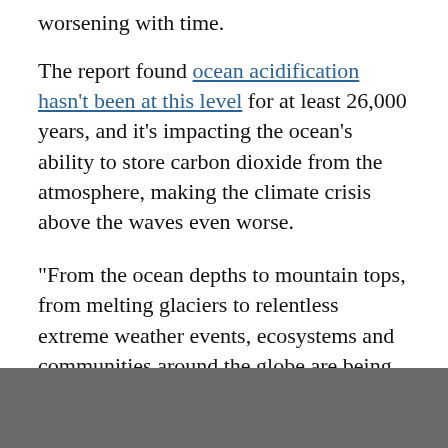worsening with time.
The report found ocean acidification hasn't been at this level for at least 26,000 years, and it's impacting the ocean's ability to store carbon dioxide from the atmosphere, making the climate crisis above the waves even worse.
"From the ocean depths to mountain tops, from melting glaciers to relentless extreme weather events, ecosystems and communities around the globe are being devastated," warns Guterres.
"COP26 must be a turning point for people and planet."
In the past nine months, the world has